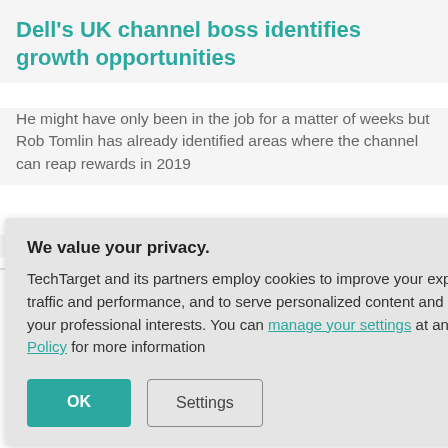Dell's UK channel boss identifies growth opportunities
He might have only been in the job for a matter of weeks but Rob Tomlin has already identified areas where the channel can reap rewards in 2019
MICROSCOPEUK : HYBRID CLOUD ARCHITECTURE
We value your privacy. TechTarget and its partners employ cookies to improve your experience on our site, to analyze traffic and performance, and to serve personalized content and advertising that are relevant to your professional interests. You can manage your settings at any time. Please view our Privacy Policy for more information
sted Huawei
r the release of nzhou, who d
S AND